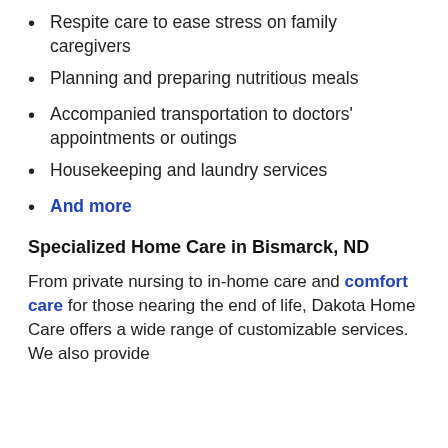Respite care to ease stress on family caregivers
Planning and preparing nutritious meals
Accompanied transportation to doctors' appointments or outings
Housekeeping and laundry services
And more
Specialized Home Care in Bismarck, ND
From private nursing to in-home care and comfort care for those nearing the end of life, Dakota Home Care offers a wide range of customizable services. We also provide